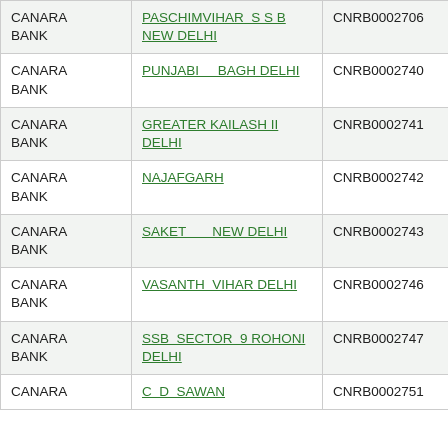| Bank | Branch | IFSC | MICR |
| --- | --- | --- | --- |
| CANARA BANK | PASCHIMVIHAR S S B NEW DELHI | CNRB0002706 | NA |
| CANARA BANK | PUNJABI BAGH DELHI | CNRB0002740 | NA |
| CANARA BANK | GREATER KAILASH II DELHI | CNRB0002741 | NA |
| CANARA BANK | NAJAFGARH | CNRB0002742 | NA |
| CANARA BANK | SAKET NEW DELHI | CNRB0002743 | NA |
| CANARA BANK | VASANTH VIHAR DELHI | CNRB0002746 | NA |
| CANARA BANK | SSB SECTOR 9 ROHONI DELHI | CNRB0002747 | NA |
| CANARA | C D SAWAN... | CNRB0002751 | NA |